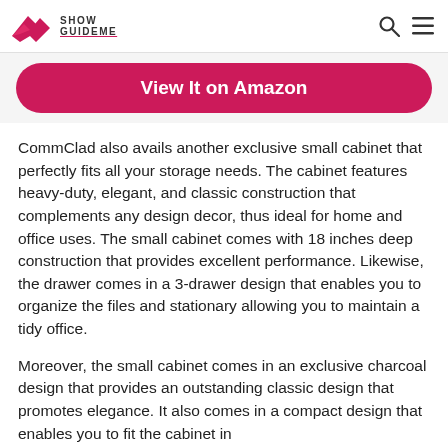Show GuideMe
[Figure (other): Pink/crimson 'View It on Amazon' button with rounded corners]
CommClad also avails another exclusive small cabinet that perfectly fits all your storage needs. The cabinet features heavy-duty, elegant, and classic construction that complements any design decor, thus ideal for home and office uses. The small cabinet comes with 18 inches deep construction that provides excellent performance. Likewise, the drawer comes in a 3-drawer design that enables you to organize the files and stationary allowing you to maintain a tidy office.
Moreover, the small cabinet comes in an exclusive charcoal design that provides an outstanding classic design that promotes elegance. It also comes in a compact design that enables you to fit the cabinet in